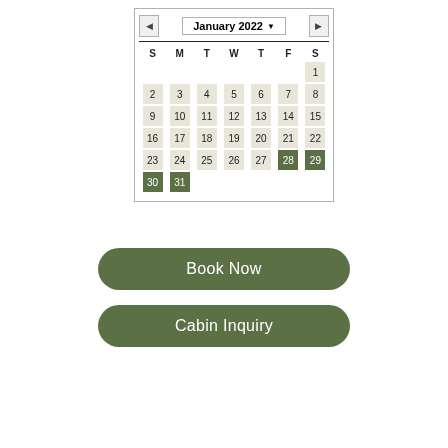[Figure (screenshot): A calendar widget showing January 2022 with navigation arrows and month/year selector. Days 28, 29, 30, 31 are highlighted in green (selected/booked). All other dates (1–27) have a beige/tan background. The week header shows S M T W T F S.]
Book Now
Cabin Inquiry